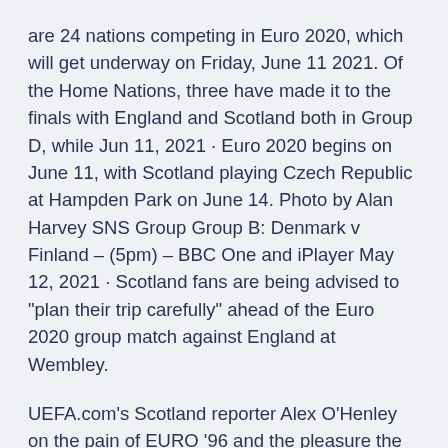are 24 nations competing in Euro 2020, which will get underway on Friday, June 11 2021. Of the Home Nations, three have made it to the finals with England and Scotland both in Group D, while Jun 11, 2021 · Euro 2020 begins on June 11, with Scotland playing Czech Republic at Hampden Park on June 14. Photo by Alan Harvey SNS Group Group B: Denmark v Finland – (5pm) – BBC One and iPlayer May 12, 2021 · Scotland fans are being advised to "plan their trip carefully" ahead of the Euro 2020 group match against England at Wembley.
UEFA.com's Scotland reporter Alex O'Henley on the pain of EURO '96 and the pleasure the current crop are generating. Article · UEFA Euro 2020 Day 3, as it happened: England, Austria and Netherlands register emphatic wins New Delhi | June 14, 2021 02:50 IST